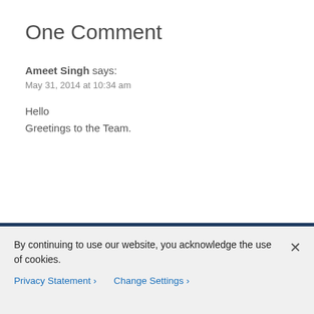One Comment
Ameet Singh says:
May 31, 2014 at 10:34 am
Hello
Greetings to the Team.
Comments are closed.
By continuing to use our website, you acknowledge the use of cookies.
Privacy Statement > Change Settings >